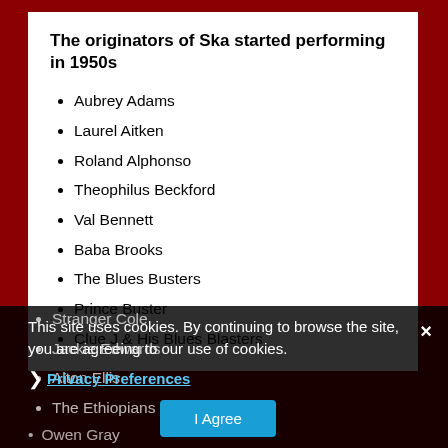The originators of Ska started performing in 1950s
Aubrey Adams
Laurel Aitken
Roland Alphonso
Theophilus Beckford
Val Bennett
Baba Brooks
The Blues Busters
Prince Buster
Clue J & His Blues Blasters
Stranger Cole
Jackie Edwards
Alton Ellis
The Ethiopians
Owen Gray
This site uses cookies. By continuing to browse the site, you are agreeing to our use of cookies.
Privacy Preferences
I Agree